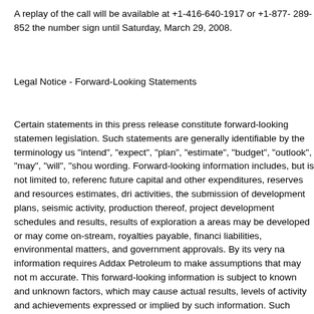A replay of the call will be available at +1-416-640-1917 or +1-877- 289-852 the number sign until Saturday, March 29, 2008.
Legal Notice - Forward-Looking Statements
Certain statements in this press release constitute forward-looking statements legislation. Such statements are generally identifiable by the terminology us "intend", "expect", "plan", "estimate", "budget", "outlook", "may", "will", "shou wording. Forward-looking information includes, but is not limited to, referenc future capital and other expenditures, reserves and resources estimates, dri activities, the submission of development plans, seismic activity, production thereof, project development schedules and results, results of exploration a areas may be developed or may come on-stream, royalties payable, financi liabilities, environmental matters, and government approvals. By its very na information requires Addax Petroleum to make assumptions that may not m accurate. This forward-looking information is subject to known and unknown factors, which may cause actual results, levels of activity and achievements expressed or implied by such information. Such factors include, but are not and resources estimates; ultimate recovery of reserves; prices of oil and na and business conditions; industry capacity; competitive action by other com refining and marketing margins; the ability to produce and transport crude